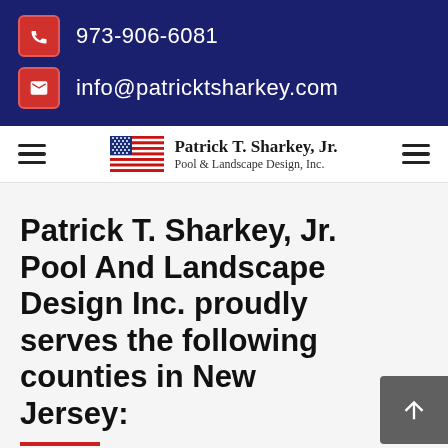973-906-6081
info@patricktsharkey.com
[Figure (logo): Patrick T. Sharkey, Jr. Pool & Landscape Design, Inc. logo with American flag]
Patrick T. Sharkey, Jr. Pool And Landscape Design Inc. proudly serves the following counties in New Jersey: